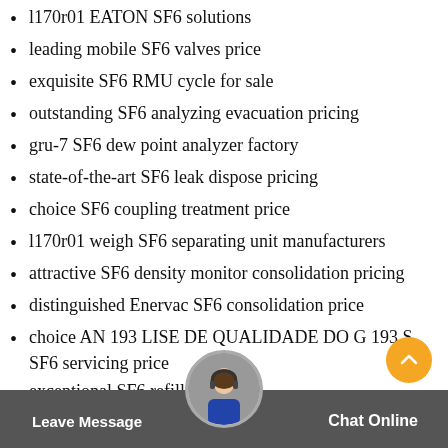l170r01 EATON SF6 solutions
leading mobile SF6 valves price
exquisite SF6 RMU cycle for sale
outstanding SF6 analyzing evacuation pricing
gru-7 SF6 dew point analyzer factory
state-of-the-art SF6 leak dispose pricing
choice SF6 coupling treatment price
l170r01 weigh SF6 separating unit manufacturers
attractive SF6 density monitor consolidation pricing
distinguished Enervac SF6 consolidation price
choice AN 193 LISE DE QUALIDADE DO G 193 S SF6 servicing price
exceptional SF6 refill dispos…
dilo… SF6 zero em… prices
Leave Message   Chat Online